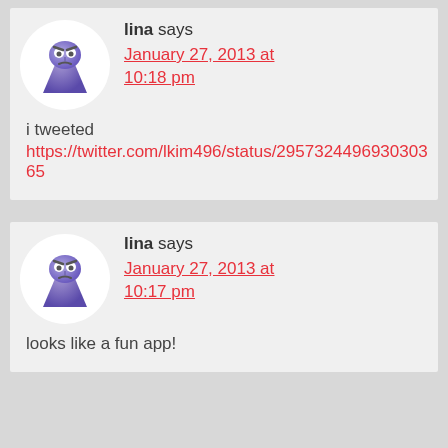lina says
January 27, 2013 at 10:18 pm
i tweeted
https://twitter.com/lkim496/status/295732449693030365
lina says
January 27, 2013 at 10:17 pm
looks like a fun app!